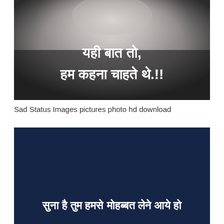[Figure (photo): Black and white moody photo with Hindi text overlay reading 'यही बात तो, हम कहना चाहते थे.!!']
Sad Status Images pictures photo hd download
[Figure (photo): Dark navy blue background image with Hindi text at the bottom reading 'सुना है तुम हमसे मोहब्बत लेने आये हो']